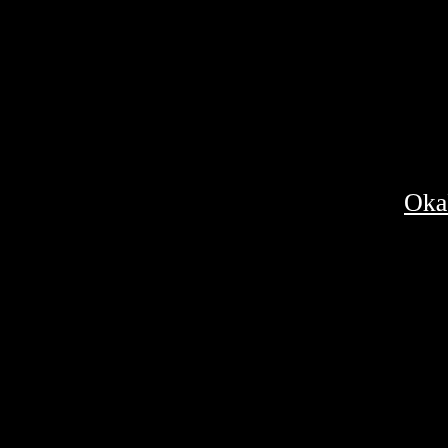[Figure (other): Calendar badge showing SAT 11 DEC 2021 on a dark background]
Okaku